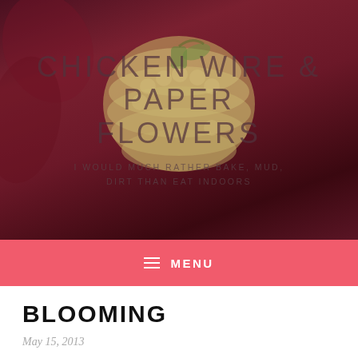[Figure (photo): Blog header image with dark red/maroon background showing a knitted or crocheted craft object (pumpkin-like shape) in the center, with the blog title and tagline overlaid in semi-transparent text]
CHICKEN WIRE & PAPER FLOWERS
I WOULD MUCH RATHER BAKE, MUD, DIRT THAN EAT INDOORS
MENU
BLOOMING
May 15, 2013